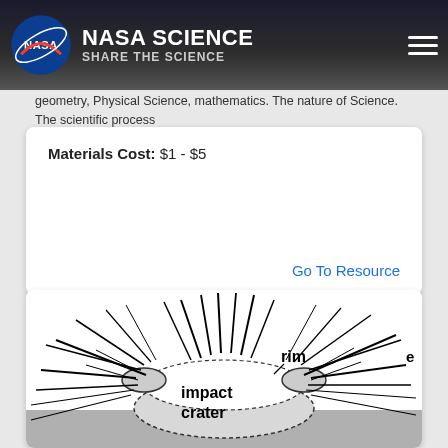NASA SCIENCE — SHARE THE SCIENCE
geometry, Physical Science, mathematics. The nature of Science. The scientific process
Materials Cost: $1 - $5
Go To Resource
[Figure (illustration): Diagram of an impact crater showing labeled parts: rim, impact crater, and ejecta (partially visible). Lines radiate outward from the crater rim like explosion rays. The crater interior is shown with a dotted outline and the ground surface is visible.]